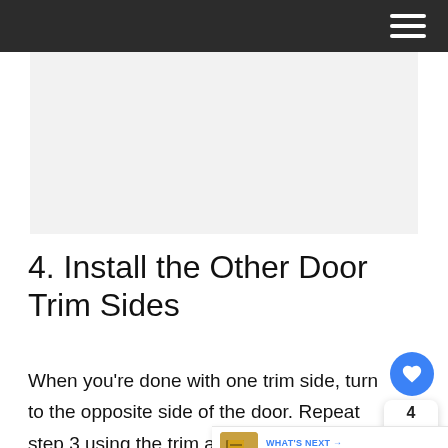Navigation menu (hamburger icon)
[Figure (photo): Light gray image placeholder area]
4. Install the Other Door Trim Sides
When you’re done with one trim side, turn to the opposite side of the door. Repeat step 3 using the trim and wood shims. Insert two shims and bottom of the trim. After you fix them with the